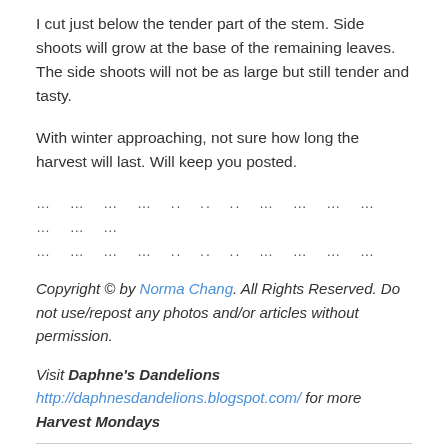I cut just below the tender part of the stem. Side shoots will grow at the base of the remaining leaves. The side shoots will not be as large but still tender and tasty.
With winter approaching, not sure how long the harvest will last. Will keep you posted.
… … … … .. .. .. … … … … … … … … … … … .. .. .. … … … …
Copyright © by Norma Chang. All Rights Reserved. Do not use/repost any photos and/or articles without permission.
Visit Daphne's Dandelions http://daphnesdandelions.blogspot.com/ for more Harvest Mondays
Share this: